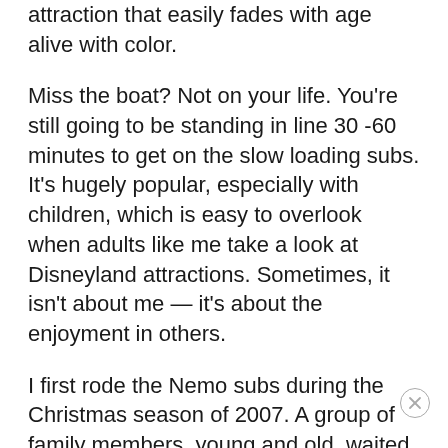attraction that easily fades with age alive with color.
Miss the boat? Not on your life. You're still going to be standing in line 30 -60 minutes to get on the slow loading subs. It's hugely popular, especially with children, which is easy to overlook when adults like me take a look at Disneyland attractions. Sometimes, it isn't about me — it's about the enjoyment in others.
I first rode the Nemo subs during the Christmas season of 2007. A group of family members, young and old, waited about 45 minutes to get on fairly late at night. We rode the subs, saw the Nemo story, and for the most part got off the